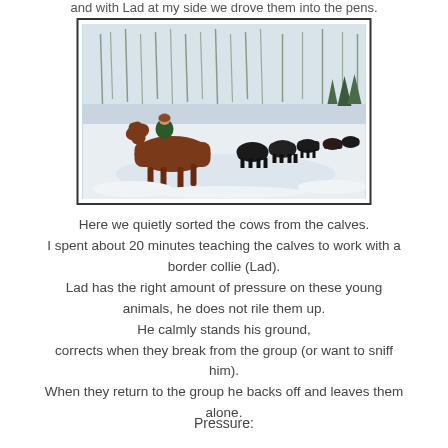and with Lad at my side we drove them into the pens.
[Figure (photo): Person on horseback herding black cattle in a snowy field with bare trees in background]
Here we quietly sorted the cows from the calves.
I spent about 20 minutes teaching the calves to work with a border collie (Lad).
Lad has the right amount of pressure on these young animals, he does not rile them up.
He calmly stands his ground,
corrects when they break from the group (or want to sniff him).
When they return to the group he backs off and leaves them alone.
Pressure: